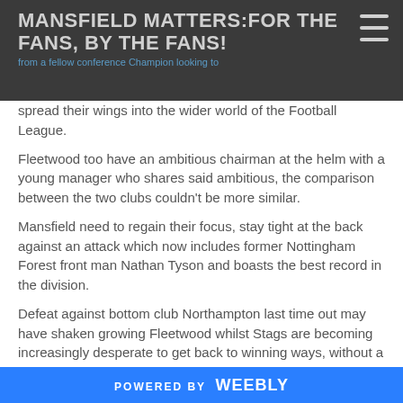MANSFIELD MATTERS:FOR THE FANS, BY THE FANS!
spread their wings into the wider world of the Football League.
Fleetwood too have an ambitious chairman at the helm with a young manager who shares said ambitious, the comparison between the two clubs couldn't be more similar.
Mansfield need to regain their focus, stay tight at the back against an attack which now includes former Nottingham Forest front man Nathan Tyson and boasts the best record in the division.
Defeat against bottom club Northampton last time out may have shaken growing Fleetwood whilst Stags are becoming increasingly desperate to get back to winning ways, without a win in eight league outings – It's certainly shaping up to be not
POWERED BY Weebly